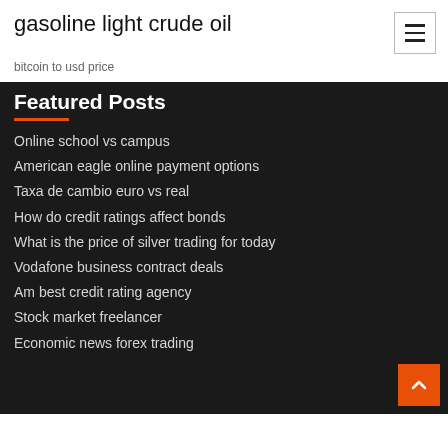gasoline light crude oil
bitcoin to usd price
Featured Posts
Online school vs campus
American eagle online payment options
Taxa de cambio euro vs real
How do credit ratings affect bonds
What is the price of silver trading for today
Vodafone business contract deals
Am best credit rating agency
Stock market freelancer
Economic news forex trading